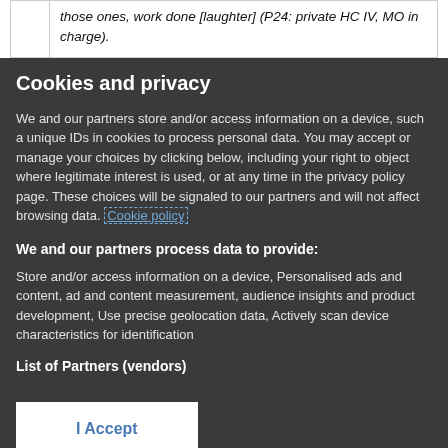| those ones, work done [laughter] (P24: private HC IV, MO in charge). |
Cookies and privacy
We and our partners store and/or access information on a device, such a unique IDs in cookies to process personal data. You may accept or manage your choices by clicking below, including your right to object where legitimate interest is used, or at any time in the privacy policy page. These choices will be signaled to our partners and will not affect browsing data. Cookie policy
We and our partners process data to provide:
Store and/or access information on a device, Personalised ads and content, ad and content measurement, audience insights and product development, Use precise geolocation data, Actively scan device characteristics for identification
List of Partners (vendors)
I Accept